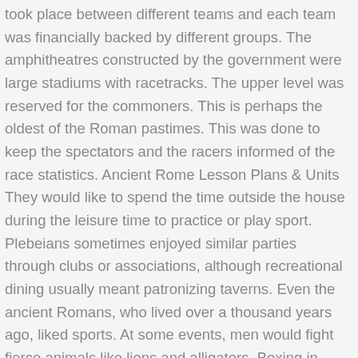took place between different teams and each team was financially backed by different groups. The amphitheatres constructed by the government were large stadiums with racetracks. The upper level was reserved for the commoners. This is perhaps the oldest of the Roman pastimes. This was done to keep the spectators and the racers informed of the race statistics. Ancient Rome Lesson Plans & Units They would like to spend the time outside the house during the leisure time to practice or play sport. Plebeians sometimes enjoyed similar parties through clubs or associations, although recreational dining usually meant patronizing taverns. Even the ancient Romans, who lived over a thousand years ago, liked sports. At some events, men would fight fierce animals like lions and alligators. Boxing in ancient Rome, known as Pugilatus, was also one of the most popular sports. Gladiators were … Eventually the patronage of the empire for sports came about in the era of Emperor Nero when the first public gymnasium was built, followed by giant amphitheatres. Gladiators were armed combatants who entertained the audience through their bloody fights with other